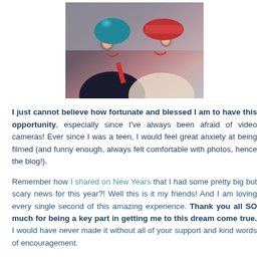[Figure (photo): Two young women smiling and laughing together; one has blue hair wearing a dark top, the other has pink hair wearing a colorful outfit with a red hat]
I just cannot believe how fortunate and blessed I am to have this opportunity, especially since I've always been afraid of video cameras! Ever since I was a teen, I would feel great anxiety at being filmed (and funny enough, always felt comfortable with photos, hence the blog!).
Remember how I shared on New Years that I had some pretty big but scary news for this year?! Well this is it my friends! And I am loving every single second of this amazing experience. Thank you all SO much for being a key part in getting me to this dream come true. I would have never made it without all of your support and kind words of encouragement.